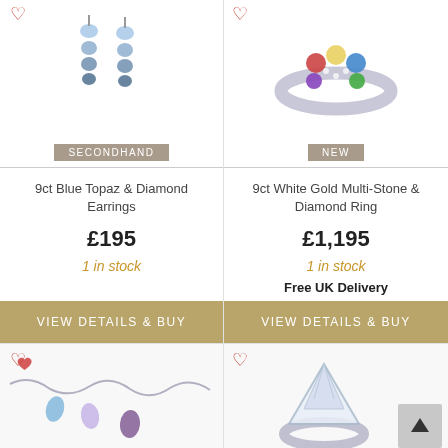[Figure (photo): Photo of 9ct Blue Topaz & Diamond Earrings - two dangling earrings with blue stones]
[Figure (photo): Photo of 9ct White Gold Multi-Stone & Diamond Ring - silver ring with colorful gemstones]
SECONDHAND
NEW
9ct Blue Topaz & Diamond Earrings
9ct White Gold Multi-Stone & Diamond Ring
£195
£1,195
1 in stock
1 in stock
Free UK Delivery
VIEW DETAILS & BUY
VIEW DETAILS & BUY
[Figure (photo): Partial photo of a bracelet with colored gem drops (blue, purple stones) on a chain]
[Figure (photo): Partial photo of a white/clear gemstone ring]